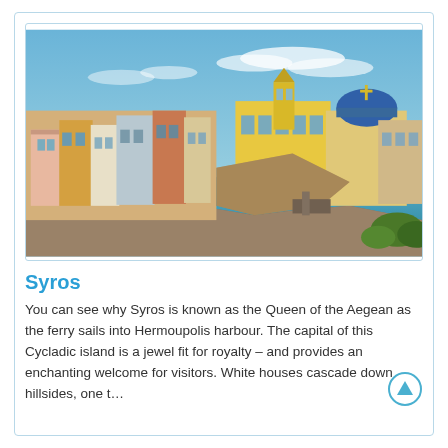[Figure (photo): Scenic photograph of Syros, Greece — colorful neoclassical buildings cascade down hillsides to the waterfront of Hermoupolis harbour, with a prominent blue-domed church (Agios Nikolaos) visible on the right, blue sky with wispy clouds above, and turquoise Aegean sea water in the foreground.]
Syros
You can see why Syros is known as the Queen of the Aegean as the ferry sails into Hermoupolis harbour. The capital of this Cycladic island is a jewel fit for royalty – and provides an enchanting welcome for visitors. White houses cascade down hillsides, one t…